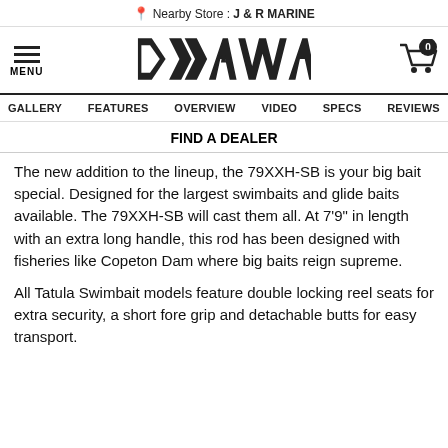Nearby Store : J & R MARINE
[Figure (logo): Daiwa logo with hamburger menu icon on left and cart icon with 0 badge on right]
GALLERY  FEATURES  OVERVIEW  VIDEO  SPECS  REVIEWS
FIND A DEALER
The new addition to the lineup, the 79XXH-SB is your big bait special. Designed for the largest swimbaits and glide baits available. The 79XXH-SB will cast them all. At 7'9" in length with an extra long handle, this rod has been designed with fisheries like Copeton Dam where big baits reign supreme.
All Tatula Swimbait models feature double locking reel seats for extra security, a short fore grip and detachable butts for easy transport.